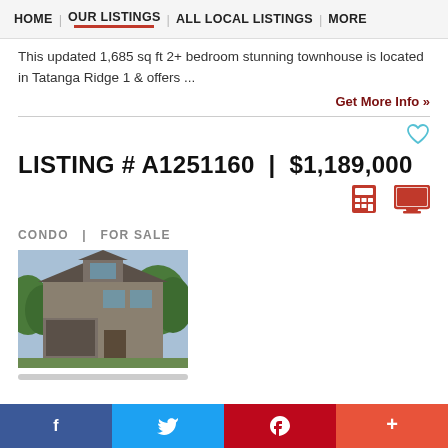HOME | OUR LISTINGS | ALL LOCAL LISTINGS | MORE
This updated 1,685 sq ft 2+ bedroom stunning townhouse is located in Tatanga Ridge 1 & offers ...
Get More Info »
LISTING # A1251160  |  $1,189,000
CONDO  |  FOR SALE
[Figure (photo): Exterior photo of a multi-storey townhouse/condo with stone and wood siding, garage, and surrounding trees]
f  t  p  +